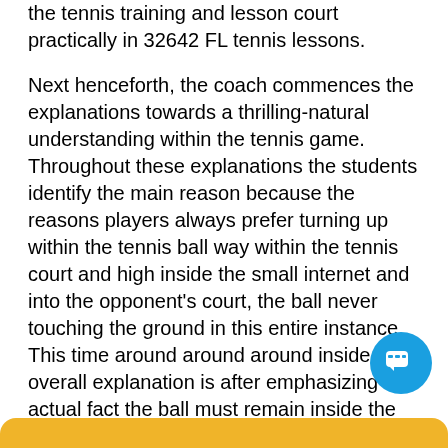the tennis training and lesson court practically in 32642 FL tennis lessons.
Next henceforth, the coach commences the explanations towards a thrilling-natural understanding within the tennis game. Throughout these explanations the students identify the main reason because the reasons players always prefer turning up within the tennis ball way within the tennis court and high inside the small internet and into the opponent's court, the ball never touching the ground in this entire instance. This time around around around inside the overall explanation is after emphasizing the actual fact the ball must remain inside the tennis court play area, in route of remaining in the score concession.